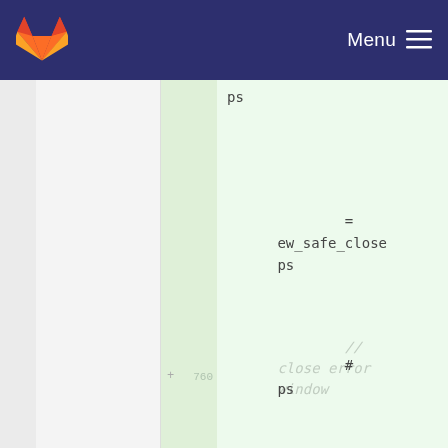Menu
[Figure (screenshot): GitLab code diff view showing added lines with green highlight. Code shows: 'ps', then '= ew_safe_close ps', then comment '// close error window', then line 760 with '# ps'.]
ps
=
ew_safe_close
ps
//
close error
window
760 + # ps